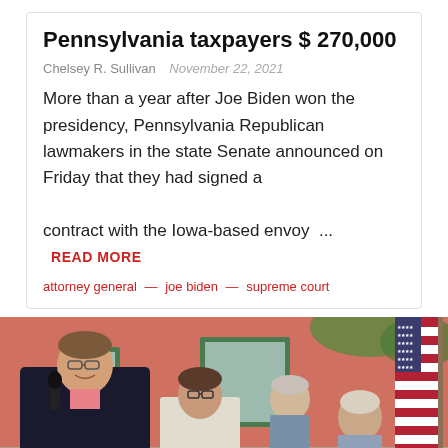Pennsylvania taxpayers $ 270,000
Chelsey R. Sullivan  November 22, 2021
More than a year after Joe Biden won the presidency, Pennsylvania Republican lawmakers in the state Senate announced on Friday that they had signed a contract with the Iowa-based envoy ...
READ MORE
attorney general  —  joe biden  —  supreme court
[Figure (photo): A man in a dark suit holding a microphone speaks at an outdoor event; several people stand behind him including a woman with glasses; an American flag is visible on the right side; the background shows a red wooden building with green-trimmed windows.]